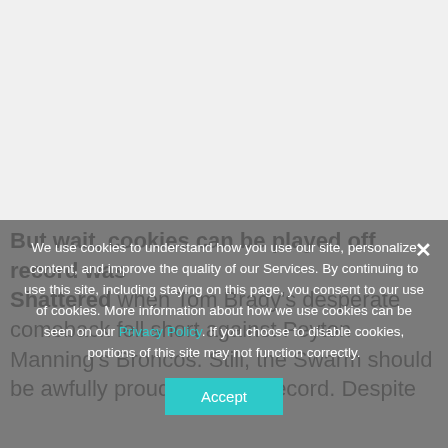[Figure (other): Top portion of a webpage showing a light gray area (likely an image or advertisement placeholder)]
But wait, cookies can be played off record was shattered when Tom Brady's desperate comeback fell short against Peyton Manning's Broncos. Still, the Swarm should be awfully proud of its 9-1 record. Despite
We use cookies to understand how you use our site, personalize content, and improve the quality of our Services. By continuing to use this site, including staying on this page, you consent to our use of cookies. More information about how we use cookies can be seen on our Privacy Policy. If you choose to disable cookies, portions of this site may not function correctly.
Accept